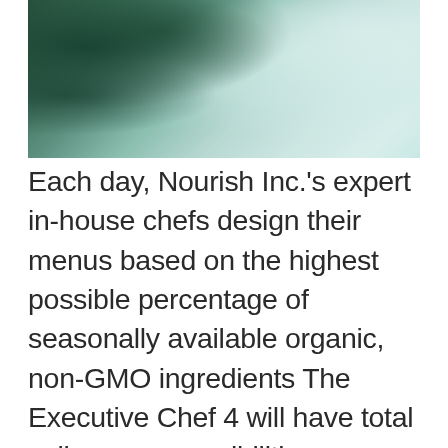[Figure (photo): Aerial view of ocean waves with seafoam, dark green and white tones]
Each day, Nourish Inc.'s expert in-house chefs design their menus based on the highest possible percentage of seasonally available organic, non-GMO ingredients The Executive Chef 4 will have total culinary responsibilities including the supervision of hourly staff Easy 1-Click Apply (COMPASS GROUP) CHEF MANAGER job in Troy, NY. View job description, responsibilities and qualifications. See if you qualify! Artisan Restaurant Collection has a great Executive Chef 4 (resource lasting up-to 6 months)opportunity in the Los Angeles area of California for a new piece of business. The Artisan Restaurant View details and